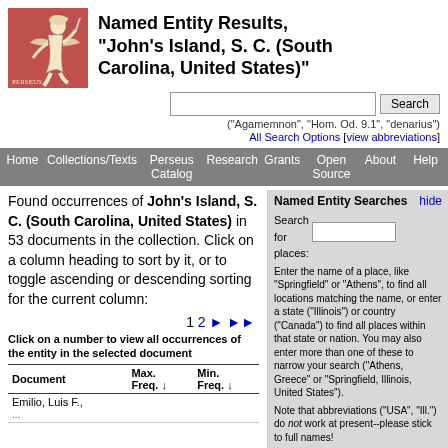[Figure (logo): Perseus Digital Library logo - figure of a runner/herald on red/brown background]
Named Entity Results, "John's Island, S. C. (South Carolina, United States)"
("Agamemnon", "Hom. Od. 9.1", "denarius")
All Search Options [view abbreviations]
Home  Collections/Texts  Perseus Catalog  Research  Grants  Open Source  About  Help
Found occurrences of John's Island, S. C. (South Carolina, United States) in 53 documents in the collection. Click on a column heading to sort by it, or to toggle ascending or descending sorting for the current column:
1 2 ▶ ▶▶
Click on a number to view all occurrences of the entity in the selected document
| Document | Max. Freq. ↓ | Min. Freq. ↓ |
| --- | --- | --- |
| Emilio, Luis F., ... |  |  |
Named Entity Searches
Search for places:
Enter the name of a place, like "Springfield" or "Athens", to find all locations matching the name, or enter a state ("Illinois") or country ("Canada") to find all places within that state or nation. You may also enter more than one of these to narrow your search ("Athens, Greece" or "Springfield, Illinois, United States").
Note that abbreviations ("USA", "Ill.") do not work at present--please stick to full names!